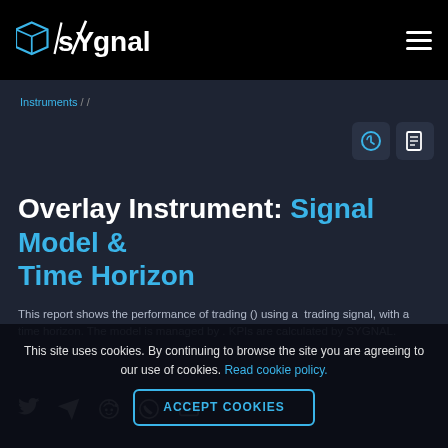sYgnal
Instruments / /
Overlay Instrument: Signal Model & Time Horizon
This report shows the performance of trading () using a  trading signal, with a time horizon. The model is managed by . KPIs are calculated by SYGNAL.
This site uses cookies. By continuing to browse the site you are agreeing to our use of cookies. Read cookie policy.